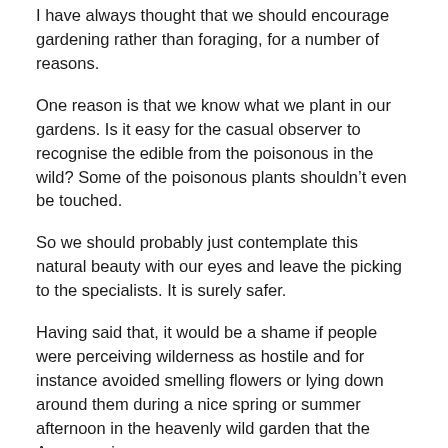I have always thought that we should encourage gardening rather than foraging, for a number of reasons.
One reason is that we know what we plant in our gardens. Is it easy for the casual observer to recognise the edible from the poisonous in the wild? Some of the poisonous plants shouldn’t even be touched.
So we should probably just contemplate this natural beauty with our eyes and leave the picking to the specialists. It is surely safer.
Having said that, it would be a shame if people were perceiving wilderness as hostile and for instance avoided smelling flowers or lying down around them during a nice spring or summer afternoon in the heavenly wild garden that the Auvergne is.